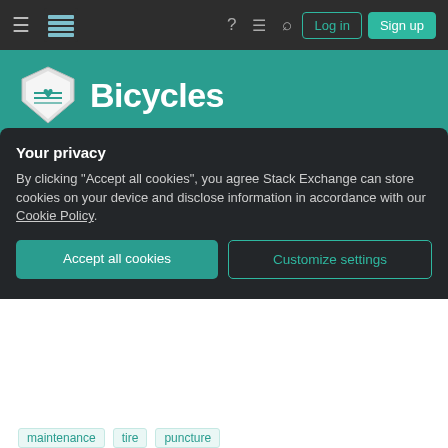Stack Exchange navigation bar with hamburger menu, logo, help, chat, search icons, Log in and Sign up buttons
[Figure (logo): Bicycles Stack Exchange logo — shield with heart icon and 'Bicycles' text on teal background]
Do narrow tires puncture more frequently?
Asked 10 years, 2 months ago    Modified 10 years, 2 months ago
Viewed 4k times
Your privacy
By clicking "Accept all cookies", you agree Stack Exchange can store cookies on your device and disclose information in accordance with our Cookie Policy.
Accept all cookies    Customize settings
maintenance   tire   puncture